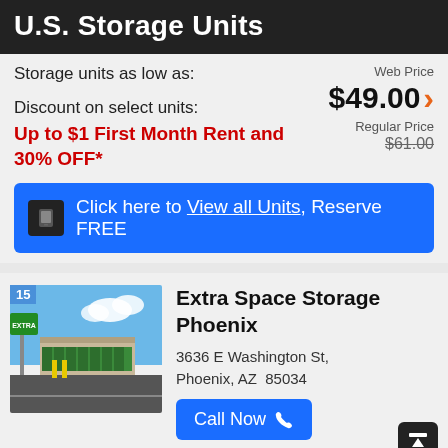U.S. Storage Units
Storage units as low as:
Web Price
$49.00
Regular Price
$61.00
Discount on select units:
Up to $1 First Month Rent and 30% OFF*
Click here to View all Units, Reserve FREE
Extra Space Storage Phoenix
3636 E Washington St, Phoenix, AZ  85034
Call Now
3.9 miles away
[Figure (photo): Exterior photo of Extra Space Storage facility in Phoenix with signage, yellow poles, and blue sky]